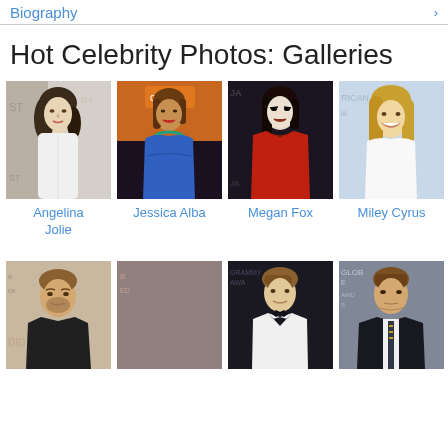Biography ›
Hot Celebrity Photos: Galleries
[Figure (photo): Celebrity photo gallery grid - Row 1: Angelina Jolie, Jessica Alba, Megan Fox, Miley Cyrus]
Angelina Jolie
Jessica Alba
Megan Fox
Miley Cyrus
[Figure (photo): Celebrity photo gallery grid - Row 2: Brad Pitt, George Clooney, Justin Bieber, Zac Efron]